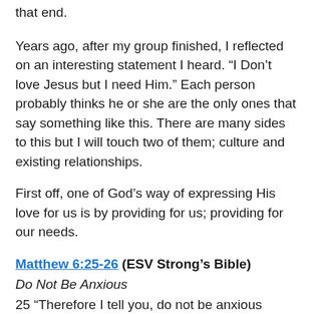that end.
Years ago, after my group finished, I reflected on an interesting statement I heard. “I Don’t love Jesus but I need Him.” Each person probably thinks he or she are the only ones that say something like this. There are many sides to this but I will touch two of them; culture and existing relationships.
First off, one of God’s way of expressing His love for us is by providing for us; providing for our needs.
Matthew 6:25-26 (ESV Strong’s Bible)
Do Not Be Anxious
25 “Therefore I tell you, do not be anxious about your life, what you will eat or what you will drink, nor about your body, what you will put on. Is not life more than